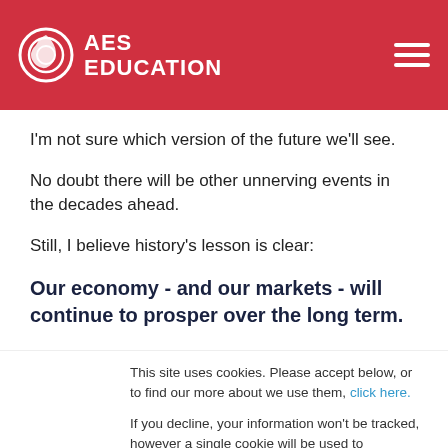AES EDUCATION
I'm not sure which version of the future we'll see.
No doubt there will be other unnerving events in the decades ahead.
Still, I believe history's lesson is clear:
Our economy - and our markets - will continue to prosper over the long term.
This site uses cookies. Please accept below, or to find our more about we use them, click here.
If you decline, your information won't be tracked, however a single cookie will be used to remember this.